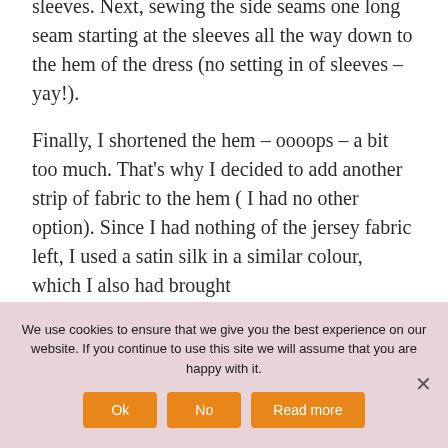sleeves. Next, sewing the side seams one long seam starting at the sleeves all the way down to the hem of the dress (no setting in of sleeves – yay!).
Finally, I shortened the hem – oooops – a bit too much. That's why I decided to add another strip of fabric to the hem ( I had no other option). Since I had nothing of the jersey fabric left, I used a satin silk in a similar colour, which I also had brought
We use cookies to ensure that we give you the best experience on our website. If you continue to use this site we will assume that you are happy with it.